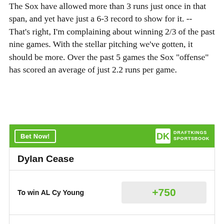The Sox have allowed more than 3 runs just once in that span, and yet have just a 6-3 record to show for it. -- That's right, I'm complaining about winning 2/3 of the past nine games. With the stellar pitching we've gotten, it should be more. Over the past 5 games the Sox "offense" has scored an average of just 2.2 runs per game.
[Figure (other): DraftKings Sportsbook betting widget showing Dylan Cease odds. 'To win AL Cy Young' at +750. 'Most regular season' at +275.]